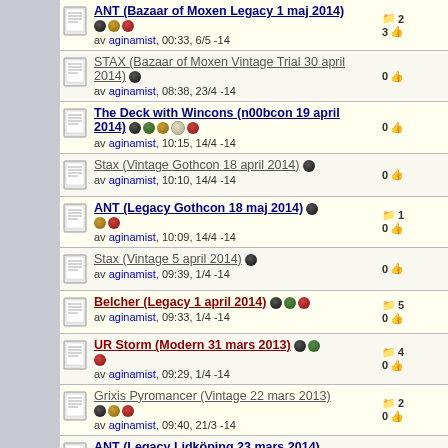ANT (Bazaar of Moxen Legacy 1 maj 2014) av aginamist, 00:33, 6/5 -14 | 2 comments, 3 likes
STAX (Bazaar of Moxen Vintage Trial 30 april 2014) av aginamist, 08:38, 23/4 -14 | 0 likes
The Deck with Wincons (n00bcon 19 april 2014) av aginamist, 10:15, 14/4 -14 | 0 likes
Stax (Vintage Gothcon 18 april 2014) av aginamist, 10:10, 14/4 -14 | 0 likes
ANT (Legacy Gothcon 18 maj 2014) av aginamist, 10:09, 14/4 -14 | 1 comment, 0 likes
Stax (Vintage 5 april 2014) av aginamist, 09:39, 1/4 -14 | 0 likes
Belcher (Legacy 1 april 2014) av aginamist, 09:33, 1/4 -14 | 5 comments, 0 likes
UR Storm (Modern 31 mars 2013) av aginamist, 09:29, 1/4 -14 | 4 comments, 0 likes
Grixis Pyromancer (Vintage 22 mars 2013) av aginamist, 09:40, 21/3 -14 | 2 comments, 0 likes
ANT (Legacy Lidköping 23 mars 2014) av aginamist, 22:51, 15/3 -14 | 0 likes
The Deck with Wincons (93/94 Kingvitational 1.0 8 mars 2014) | 1 like